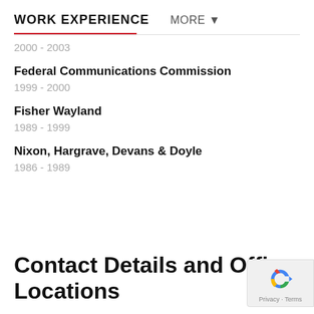WORK EXPERIENCE   MORE ▼
2000 - 2003
Federal Communications Commission
1999 - 2000
Fisher Wayland
1989 - 1999
Nixon, Hargrave, Devans & Doyle
1986 - 1989
Contact Details and Office Locations